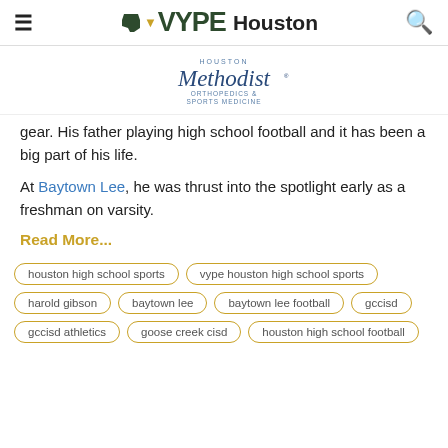≡  VYPE Houston  🔍
[Figure (logo): Houston Methodist Orthopedics & Sports Medicine logo]
gear. His father playing high school football and it has been a big part of his life.
At Baytown Lee, he was thrust into the spotlight early as a freshman on varsity.
Read More...
houston high school sports
vype houston high school sports
harold gibson
baytown lee
baytown lee football
gccisd
gccisd athletics
goose creek cisd
houston high school football